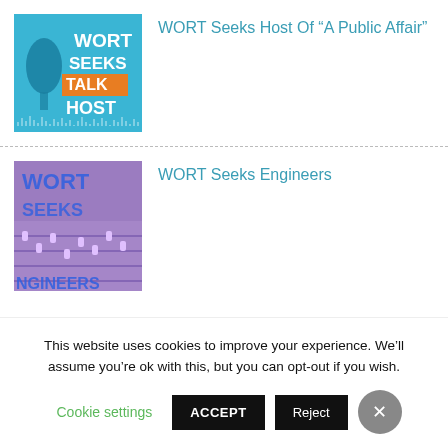[Figure (illustration): Blue square graphic with text WORT SEEKS TALK HOST, microphone image, orange rectangle, audio waveform at bottom]
WORT Seeks Host Of “A Public Affair”
[Figure (photo): Purple-tinted photo of audio mixing board with overlay text WORT SEEKS ENGINEERS]
WORT Seeks Engineers
This website uses cookies to improve your experience. We’ll assume you’re ok with this, but you can opt-out if you wish.
Cookie settings   ACCEPT   Reject